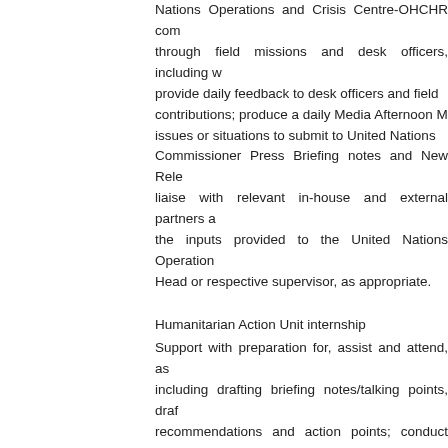Nations Operations and Crisis Centre-OHCHR com through field missions and desk officers, including w provide daily feedback to desk officers and field contributions; produce a daily Media Afternoon M issues or situations to submit to United Nations Commissioner Press Briefing notes and New Rele liaise with relevant in-house and external partners the inputs provided to the United Nations Operation Head or respective supervisor, as appropriate.
Humanitarian Action Unit internship
Support with preparation for, assist and attend, a including drafting briefing notes/talking points, dra recommendations and action points; conduct rese tools/ reports/processes; update and maintain the with relevant in-house and external partners as ne inter-agency processes; assist the section with U basis; and perform other tasks as requested by the
Competencies
PROFESSIONALISM: Shows pride in work and in a subject matter; Is conscientious and efficient in m